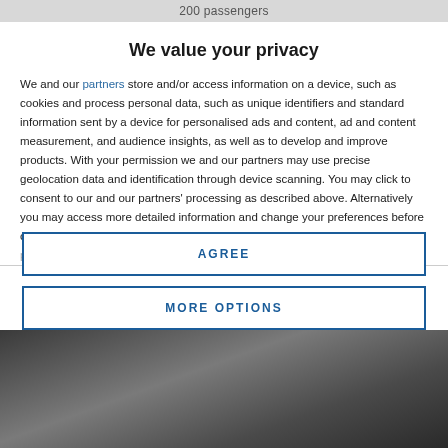200 passengers
We value your privacy
We and our partners store and/or access information on a device, such as cookies and process personal data, such as unique identifiers and standard information sent by a device for personalised ads and content, ad and content measurement, and audience insights, as well as to develop and improve products. With your permission we and our partners may use precise geolocation data and identification through device scanning. You may click to consent to our and our partners' processing as described above. Alternatively you may access more detailed information and change your preferences before consenting or to refuse consenting. Please note that some processing of your personal data may not require your consent, but you have a right to
AGREE
MORE OPTIONS
[Figure (photo): Dark photo partially visible at bottom of page]